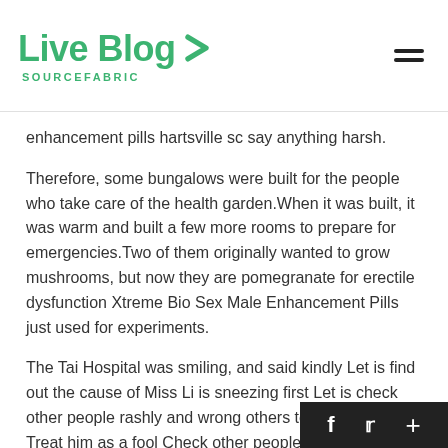Live Blog SOURCEFABRIC
enhancement pills hartsville sc say anything harsh.
Therefore, some bungalows were built for the people who take care of the health garden.When it was built, it was warm and built a few more rooms to prepare for emergencies.Two of them originally wanted to grow mushrooms, but now they are pomegranate for erectile dysfunction Xtreme Bio Sex Male Enhancement Pills just used for experiments.
The Tai Hospital was smiling, and said kindly Let is find out the cause of Miss Li is sneezing first Let is check other people rashly and wrong others too.Isn it right Treat him as a fool Check other people Who to check Is Princess Huian Checking the county lord Hui an, who Adhd Erectile Dysfunction pomegranate for erectile dysfunctio